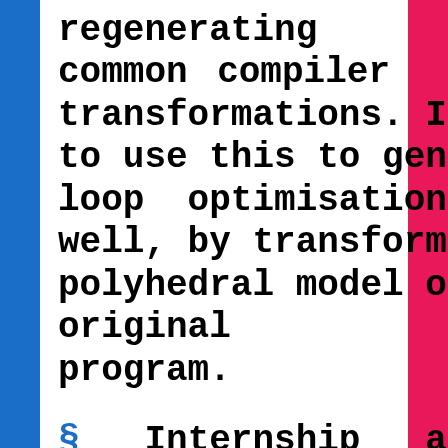regenerating common compiler transformations. I want to use this to generate loop optimisations as well, by transforming a polyhedral model of the original program.
§ Internship at Tweag.io over the summer: Hacking on